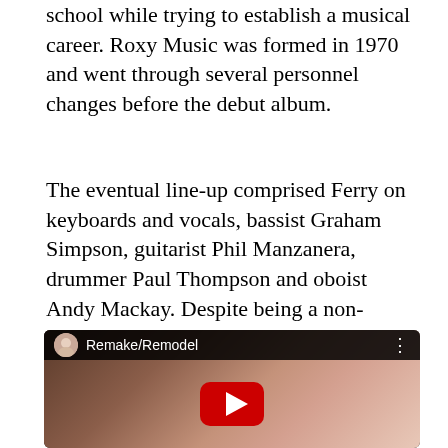school while trying to establish a musical career. Roxy Music was formed in 1970 and went through several personnel changes before the debut album.
The eventual line-up comprised Ferry on keyboards and vocals, bassist Graham Simpson, guitarist Phil Manzanera, drummer Paul Thompson and oboist Andy Mackay. Despite being a non-musician, Mackay’s friend Brian Eno was co-opted in because he had an impressive collection of tape recorders and knew how to work a synthesiser.
[Figure (screenshot): YouTube video embed showing Remake/Remodel video with play button, dark top bar with circular thumbnail and title text, and a woman's face visible in the background]